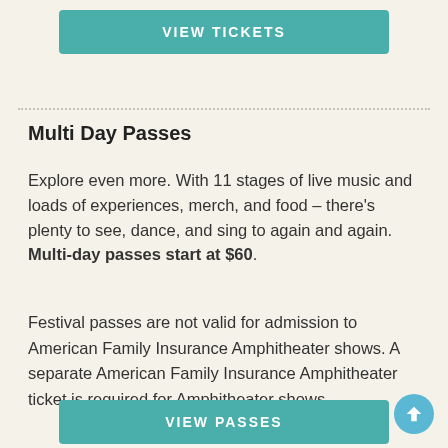VIEW TICKETS
Multi Day Passes
Explore even more. With 11 stages of live music and loads of experiences, merch, and food – there's plenty to see, dance, and sing to again and again. Multi-day passes start at $60.
Festival passes are not valid for admission to American Family Insurance Amphitheater shows. A separate American Family Insurance Amphitheater ticket is required for Amphitheater shows.
VIEW PASSES